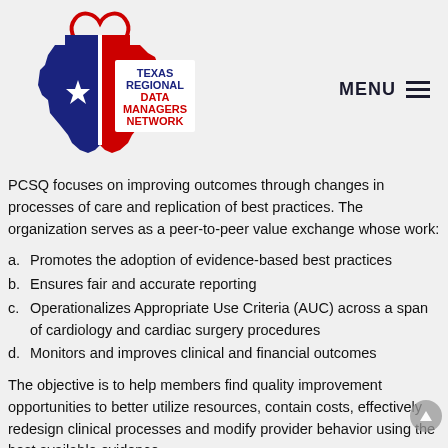[Figure (logo): Texas Regional Data Managers Network logo — shape of Texas in blue/red/white with a red heart outline on top and a white star, with text 'TEXAS REGIONAL DATA MANAGERS NETWORK']
MENU ☰
PCSQ focuses on improving outcomes through changes in processes of care and replication of best practices. The organization serves as a peer-to-peer value exchange whose work:
a. Promotes the adoption of evidence-based best practices
b. Ensures fair and accurate reporting
c. Operationalizes Appropriate Use Criteria (AUC) across a span of cardiology and cardiac surgery procedures
d. Monitors and improves clinical and financial outcomes
The objective is to help members find quality improvement opportunities to better utilize resources, contain costs, effectively redesign clinical processes and modify provider behavior using the best available evidence.